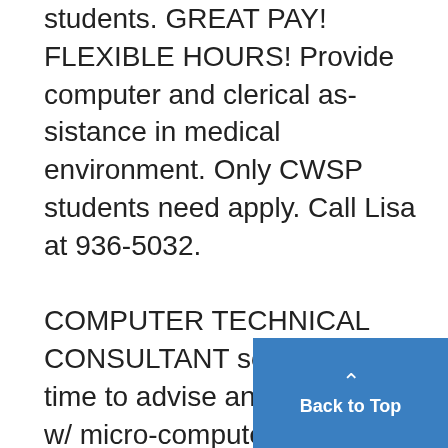students. GREAT PAY! FLEXIBLE HOURS! Provide computer and clerical assistance in medical environment. Only CWSP students need apply. Call Lisa at 936-5032. COMPUTER TECHNICAL CONSULTANT sought part-time to advise and assist users w/ micro-computers & software. Must possess skills in software training & in trouble-shooting equipment problems. Must have car and prior experience in counseling. Send resume to Tracy Willoughby, Dana Bldg. Ann Arbor, MI 4810
[Figure (other): Blue 'Back to Top' button with upward caret arrow in bottom-right corner]